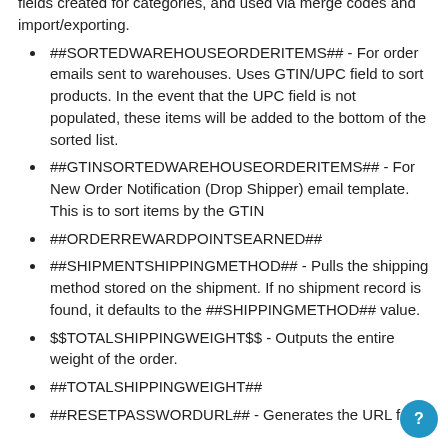fields created for categories, and used via merge codes and import/exporting.
##SORTEDWAREHOUSEORDERITEMS## - For order emails sent to warehouses. Uses GTIN/UPC field to sort products. In the event that the UPC field is not populated, these items will be added to the bottom of the sorted list.
##GTINSORTEDWAREHOUSEORDERITEMS## - For New Order Notification (Drop Shipper) email template. This is to sort items by the GTIN
##ORDERREWARDPOINTSEARNED##
##SHIPMENTSHIPPINGMETHOD## - Pulls the shipping method stored on the shipment. If no shipment record is found, it defaults to the ##SHIPPINGMETHOD## value.
$$TOTALSHIPPINGWEIGHT$$ - Outputs the entire weight of the order.
##TOTALSHIPPINGWEIGHT##
##RESETPASSWORDURL## - Generates the URL fo...